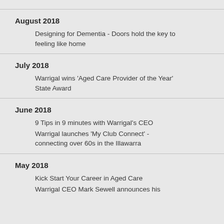August 2018
Designing for Dementia - Doors hold the key to feeling like home
July 2018
Warrigal wins 'Aged Care Provider of the Year' State Award
June 2018
9 Tips in 9 minutes with Warrigal's CEO
Warrigal launches 'My Club Connect' - connecting over 60s in the Illawarra
May 2018
Kick Start Your Career in Aged Care
Warrigal CEO Mark Sewell announces his